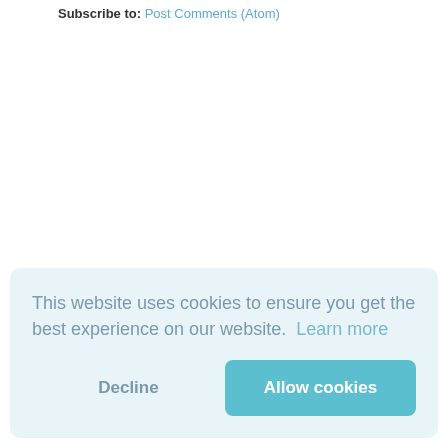Subscribe to: Post Comments (Atom)
This website uses cookies to ensure you get the best experience on our website.  Learn more
Decline
Allow cookies